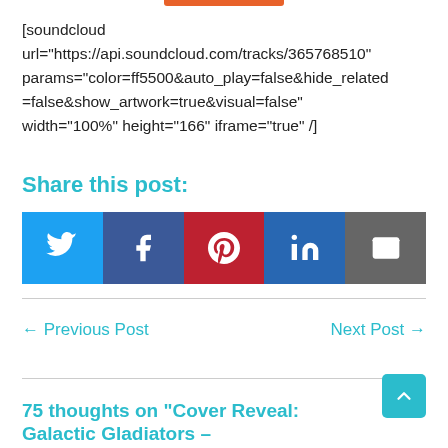[soundcloud url="https://api.soundcloud.com/tracks/365768510" params="color=ff5500&auto_play=false&hide_related=false&show_artwork=true&visual=false" width="100%" height="166" iframe="true" /]
Share this post:
[Figure (other): Row of five social share buttons: Twitter (blue), Facebook (dark blue), Pinterest (red), LinkedIn (blue), Email (gray)]
← Previous Post
Next Post →
75 thoughts on "Cover Reveal: Galactic Gladiators –